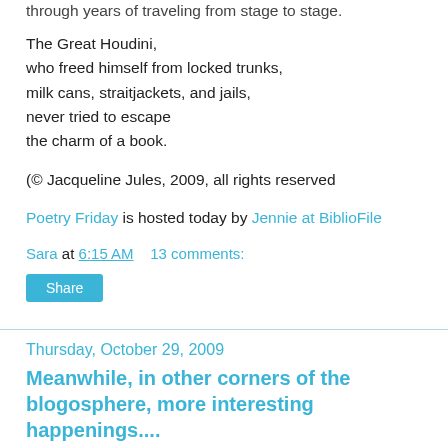through years of traveling from stage to stage.
The Great Houdini,
who freed himself from locked trunks,
milk cans, straitjackets, and jails,
never tried to escape
the charm of a book.
(© Jacqueline Jules, 2009, all rights reserved
Poetry Friday is hosted today by Jennie at BiblioFile
Sara at 6:15 AM    13 comments:
Share
Thursday, October 29, 2009
Meanwhile, in other corners of the blogosphere, more interesting happenings....
Little green army men hurling raisins! Takin' down a